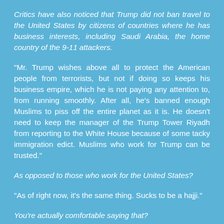Critics have also noticed that Trump did not ban travel to the United States by citizens of countries where he has business interests, including Saudi Arabia, the home country of the 9-11 attackers.
"Mr. Trump wishes above all to protect the American people from terrorists, but not if doing so keeps his business empire, which he is not paying any attention to, from running smoothly. After all, he's banned enough Muslims to piss off the entire planet as it is. He doesn't need to keep the manager of the Trump Tower Riyadh from reporting to the White House because of some tacky immigration edict. Muslims who work for Trump can be trusted."
As opposed to those who work for the United States?
"As of right now, it's the same thing. Sucks to be a hajji."
You're actually comfortable saying that?
"Oh, hell yeah. Steve Bannon thinks we ought to put it on the